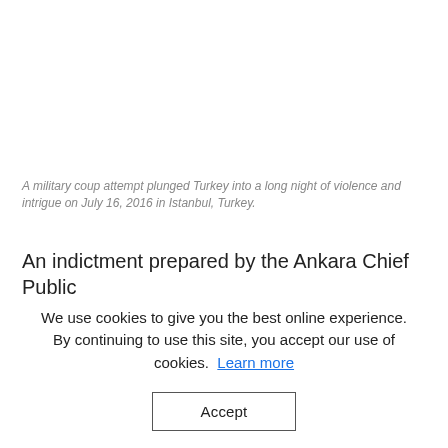A military coup attempt plunged Turkey into a long night of violence and intrigue on July 16, 2016 in Istanbul, Turkey.
An indictment prepared by the Ankara Chief Public
We use cookies to give you the best online experience. By continuing to use this site, you accept our use of cookies. Learn more
Accept